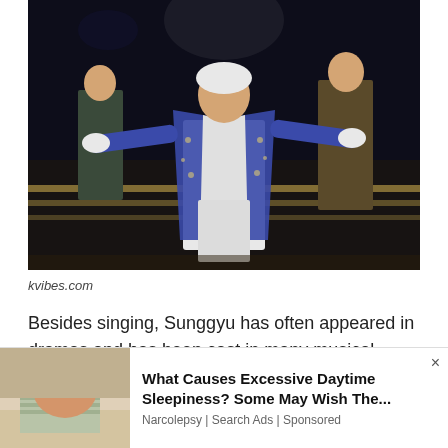[Figure (photo): A performer in a blue floral embroidered coat and white outfit with arms outstretched on a stage, with other cast members in the background]
kvibes.com
Besides singing, Sunggyu has often appeared in dramas and has been cast in many musical theaters. Let's check out his
[Figure (photo): Advertisement showing a person sleeping with text 'What Causes Excessive Daytime Sleepiness? Some May Wish The...' from Narcolepsy | Search Ads | Sponsored]